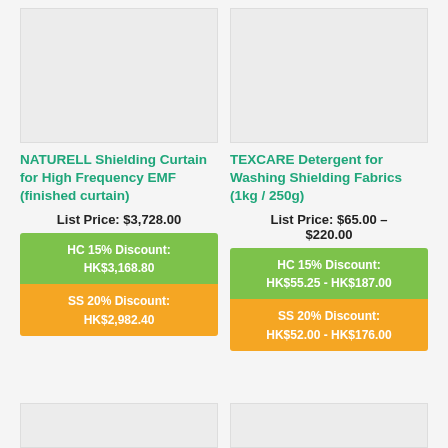[Figure (photo): Product image placeholder for NATURELL Shielding Curtain]
[Figure (photo): Product image placeholder for TEXCARE Detergent]
NATURELL Shielding Curtain for High Frequency EMF (finished curtain)
TEXCARE Detergent for Washing Shielding Fabrics (1kg / 250g)
List Price: $3,728.00
List Price: $65.00 - $220.00
HC 15% Discount: HK$3,168.80
SS 20% Discount: HK$2,982.40
HC 15% Discount: HK$55.25 - HK$187.00
SS 20% Discount: HK$52.00 - HK$176.00
[Figure (photo): Bottom left product image placeholder]
[Figure (photo): Bottom right product image placeholder]